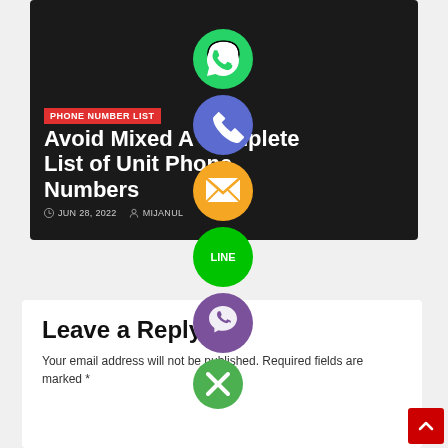[Figure (screenshot): Dark card with red badge 'PHONE NUMBER LIST', article title 'Avoid Mixed A Complete List of Unit Phone Numbers', date JUN 28, 2022 and author MIJANUL]
[Figure (infographic): Column of social sharing icons: WhatsApp (green), phone/call (blue/purple), email (orange), LINE (green), Viber (purple), close/X (green)]
Leave a Reply
Your email address will not be published. Required fields are marked *